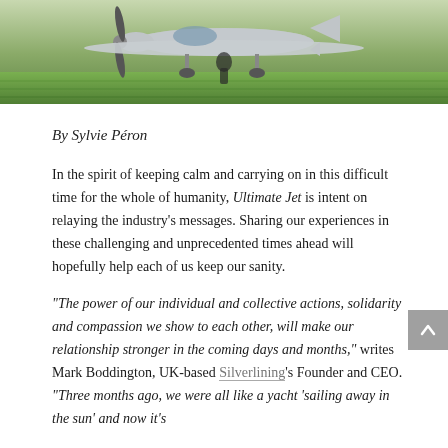[Figure (photo): Photograph of a person standing in front of a small aircraft on a grassy airfield, viewed from the front of the plane]
By Sylvie Péron
In the spirit of keeping calm and carrying on in this difficult time for the whole of humanity, Ultimate Jet is intent on relaying the industry's messages. Sharing our experiences in these challenging and unprecedented times ahead will hopefully help each of us keep our sanity.
“The power of our individual and collective actions, solidarity and compassion we show to each other, will make our relationship stronger in the coming days and months,” writes Mark Boddington, UK-based Silverlining’s Founder and CEO. “Three months ago, we were all like a yacht ‘sailing away in the sun’ and now it’s